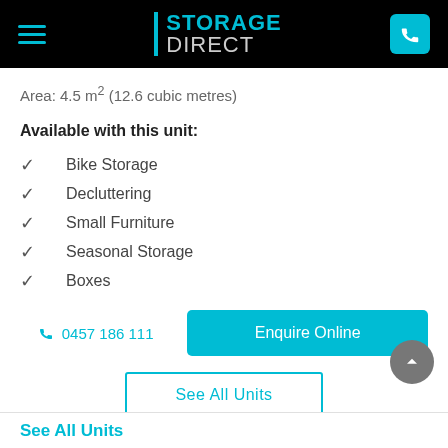STORAGE DIRECT
Area: 4.5 m² (12.6 cubic metres)
Available with this unit:
Bike Storage
Decluttering
Small Furniture
Seasonal Storage
Boxes
0457 186 111  Enquire Online
See All Units